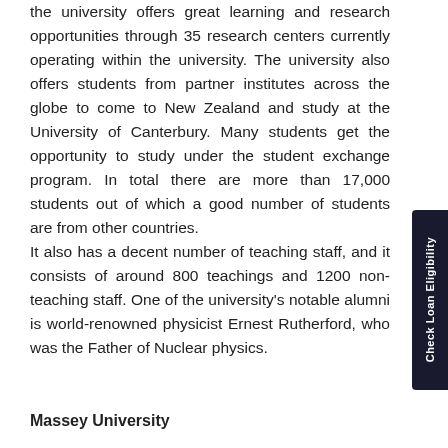the university offers great learning and research opportunities through 35 research centers currently operating within the university. The university also offers students from partner institutes across the globe to come to New Zealand and study at the University of Canterbury. Many students get the opportunity to study under the student exchange program. In total there are more than 17,000 students out of which a good number of students are from other countries. It also has a decent number of teaching staff, and it consists of around 800 teachings and 1200 non-teaching staff. One of the university's notable alumni is world-renowned physicist Ernest Rutherford, who was the Father of Nuclear physics.
Massey University